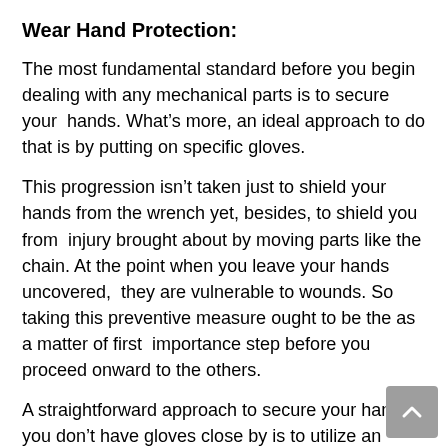Wear Hand Protection:
The most fundamental standard before you begin dealing with any mechanical parts is to secure your  hands. What’s more, an ideal approach to do that is by putting on specific gloves.
This progression isn’t taken just to shield your hands from the wrench yet, besides, to shield you from  injury brought about by moving parts like the chain. At the point when you leave your hands uncovered,  they are vulnerable to wounds. So taking this preventive measure ought to be the as a matter of first  importance step before you proceed onward to the others.
A straightforward approach to secure your hand if you don’t have gloves close by is to utilize an